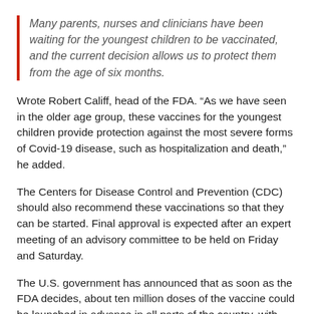Many parents, nurses and clinicians have been waiting for the youngest children to be vaccinated, and the current decision allows us to protect them from the age of six months.
Wrote Robert Califf, head of the FDA. “As we have seen in the older age group, these vaccines for the youngest children provide protection against the most severe forms of Covid-19 disease, such as hospitalization and death,” he added.
The Centers for Disease Control and Prevention (CDC) should also recommend these vaccinations so that they can be started. Final approval is expected after an expert meeting of an advisory committee to be held on Friday and Saturday.
The U.S. government has announced that as soon as the FDA decides, about ten million doses of the vaccine could be launched in advance in all parts of the country, with millions more to be delivered in the coming weeks. Equipment for vaccinations,